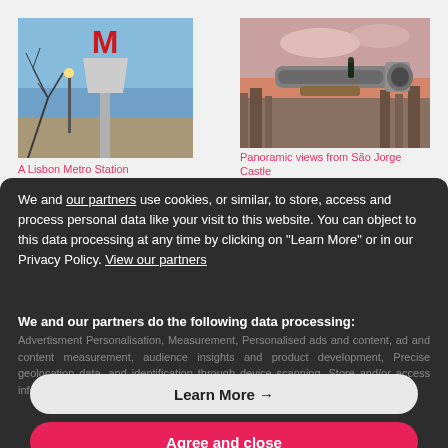[Figure (photo): A Lisbon Metro Station sign - red M letter on a pole against blue sky with bare trees]
[Figure (photo): Panoramic views from São Jorge Castle - a cannon pointing over the city at sunset]
A Lisbon Metro Station
Panoramic views from São Jorge Castle
We and our partners use cookies, or similar, to store, access and process personal data like your visit to this website. You can object to this data processing at any time by clicking on "Learn More" or in our Privacy Policy. View our partners
We and our partners do the following data processing:
Advertisment Personalisation, Measurement, Personalised ads and content, ad and content measurement, audience insights and product development, Precise geolocation data, and identification through device scanning, Store and/or access information on a device, Strictly Necessary Cookies
Learn More →
Agree and close